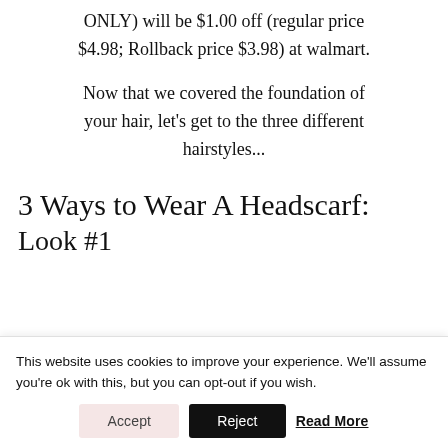ONLY) will be $1.00 off (regular price $4.98; Rollback price $3.98) at walmart.
Now that we covered the foundation of your hair, let's get to the three different hairstyles...
3 Ways to Wear A Headscarf:
Look #1
This website uses cookies to improve your experience. We'll assume you're ok with this, but you can opt-out if you wish.